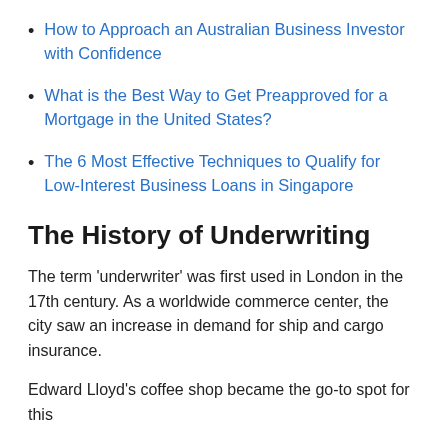How to Approach an Australian Business Investor with Confidence
What is the Best Way to Get Preapproved for a Mortgage in the United States?
The 6 Most Effective Techniques to Qualify for Low-Interest Business Loans in Singapore
The History of Underwriting
The term ‘underwriter’ was first used in London in the 17th century. As a worldwide commerce center, the city saw an increase in demand for ship and cargo insurance.
Edward Lloyd’s coffee shop became the go-to spot for this